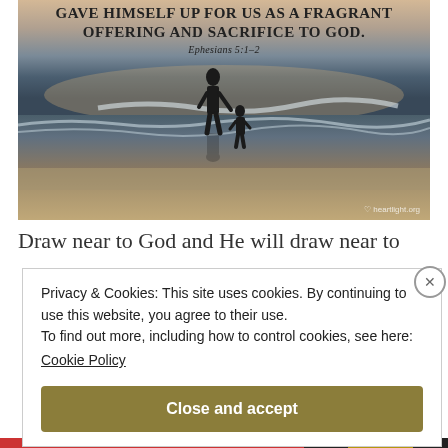[Figure (photo): A photo of a parent and child silhouetted against ocean waves at sunset/dawn, with text overlay quoting Ephesians 5:1-2 about Christ giving himself as a fragrant offering and sacrifice to God. Watermark: heartlight.org]
Draw near to God and He will draw near to
Privacy & Cookies: This site uses cookies. By continuing to use this website, you agree to their use.
To find out more, including how to control cookies, see here:
Cookie Policy
Close and accept